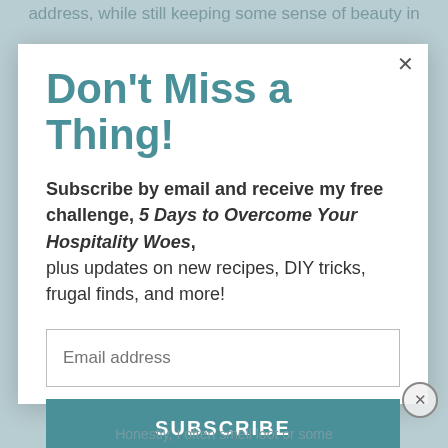address, while still keeping some sense of beauty in
Don't Miss a Thing!
Subscribe by email and receive my free challenge, 5 Days to Overcome Your Hospitality Woes, plus updates on new recipes, DIY tricks, frugal finds, and more!
Email address
SUBSCRIBE
Honestly, I often smell loot or some